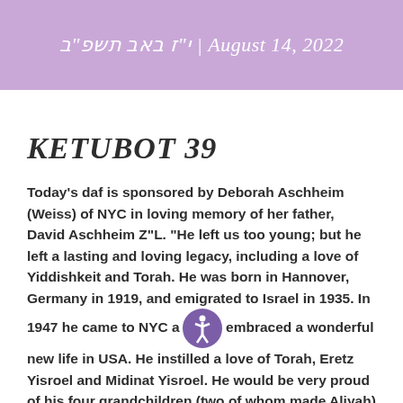י"ז באב תשפ"ב | August 14, 2022
KETUBOT 39
Today's daf is sponsored by Deborah Aschheim (Weiss) of NYC in loving memory of her father, David Aschheim Z"L. "He left us too young; but he left a lasting and loving legacy, including a love of Yiddishkeit and Torah. He was born in Hannover, Germany in 1919, and emigrated to Israel in 1935. In 1947 he came to NYC and embraced a wonderful new life in USA. He instilled a love of Torah, Eretz Yisroel and Midinat Yisroel. He would be very proud of his four grandchildren (two of whom made Aliyah) and of his six great-grandchildren